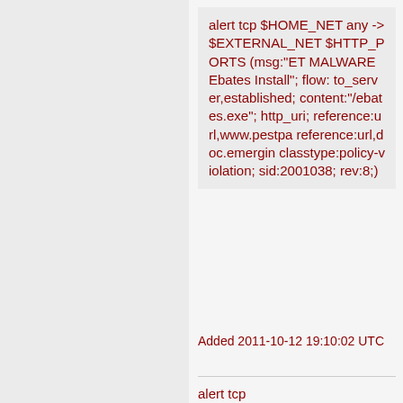alert tcp $HOME_NET any -> $EXTERNAL_NET $HTTP_PORTS (msg:"ET MALWARE Ebates Install"; flow:to_server,established; content:"/ebates.exe"; http_uri; reference:url,www.pestpa reference:url,doc.emergin classtype:policy-violation; sid:2001038; rev:8;)
Added 2011-10-12 19:10:02 UTC
alert tcp